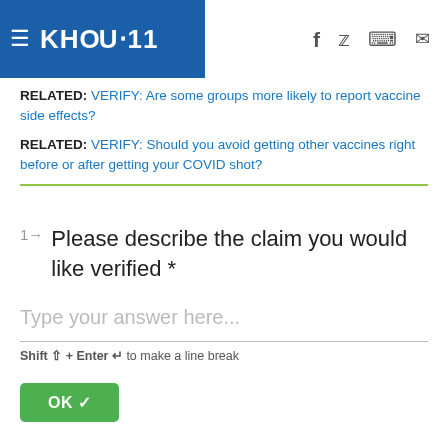KHOU 11
RELATED: VERIFY: Are some groups more likely to report vaccine side effects?
RELATED: VERIFY: Should you avoid getting other vaccines right before or after getting your COVID shot?
1 → Please describe the claim you would like verified *
Type your answer here...
Shift ⇧ + Enter ↵ to make a line break
OK